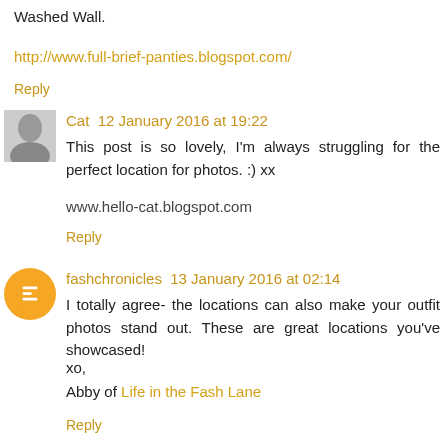Washed Wall.
http://www.full-brief-panties.blogspot.com/
Reply
Cat  12 January 2016 at 19:22
This post is so lovely, I'm always struggling for the perfect location for photos. :) xx
www.hello-cat.blogspot.com
Reply
fashchronicles  13 January 2016 at 02:14
I totally agree- the locations can also make your outfit photos stand out. These are great locations you've showcased!
xo,
Abby of Life in the Fash Lane
Reply